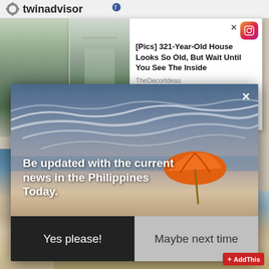twinadvisor
[Figure (screenshot): Advertisement banner: photo of snowy road/estate. Title: [Pics] 321-Year-Old House Looks So Old, But Wait Until You See The Inside. Source: TheDecorIdeas. PurpleAds branding. Close button. Instagram icon.]
[Figure (logo): Blogmeter widget: Ranked # 4, blue background with rainbow arc logo and italic 'blogmeter' text in cyan]
[Figure (screenshot): Modal popup with cloudy sky and beach background. Orange umbrella. Text: 'Be updated with the current news in the Philippines Today.' Two buttons: 'Yes please!' (dark) and 'Maybe next time' (gray). Close X button. AddThis branding.]